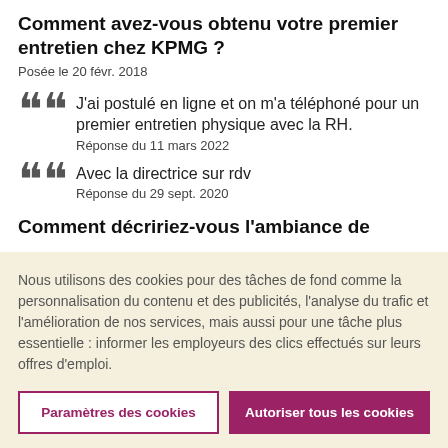Comment avez-vous obtenu votre premier entretien chez KPMG ?
Posée le 20 févr. 2018
J'ai postulé en ligne et on m'a téléphoné pour un premier entretien physique avec la RH.
Réponse du 11 mars 2022
Avec la directrice sur rdv
Réponse du 29 sept. 2020
Comment décririez-vous l'ambiance de
Nous utilisons des cookies pour des tâches de fond comme la personnalisation du contenu et des publicités, l'analyse du trafic et l'amélioration de nos services, mais aussi pour une tâche plus essentielle : informer les employeurs des clics effectués sur leurs offres d'emploi.
Paramètres des cookies
Autoriser tous les cookies